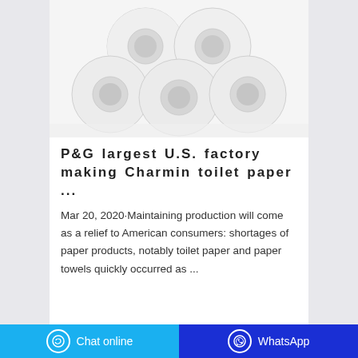[Figure (photo): Stack of white toilet paper rolls arranged in a pyramid shape against a white background]
P&G largest U.S. factory making Charmin toilet paper ...
Mar 20, 2020·Maintaining production will come as a relief to American consumers: shortages of paper products, notably toilet paper and paper towels quickly occurred as ...
Chat online   WhatsApp